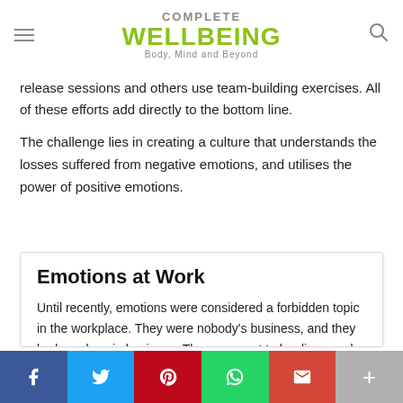COMPLETE WELLBEING Body, Mind and Beyond
release sessions and others use team-building exercises. All of these efforts add directly to the bottom line.
The challenge lies in creating a culture that understands the losses suffered from negative emotions, and utilises the power of positive emotions.
Emotions at Work
Until recently, emotions were considered a forbidden topic in the workplace. They were nobody's business, and they had no place in business. They were not to be discussed; they were to be left at home.